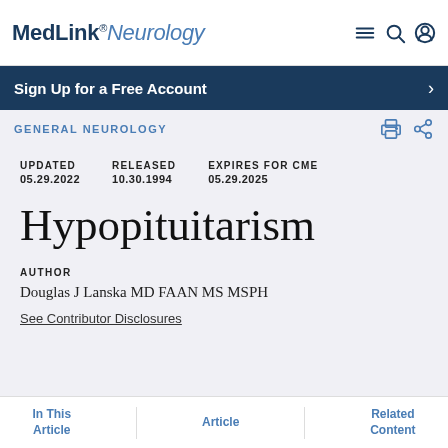MedLink® Neurology
Sign Up for a Free Account
GENERAL NEUROLOGY
UPDATED 05.29.2022  RELEASED 10.30.1994  EXPIRES FOR CME 05.29.2025
Hypopituitarism
AUTHOR
Douglas J Lanska MD FAAN MS MSPH
See Contributor Disclosures
In This Article  Article  Related Content